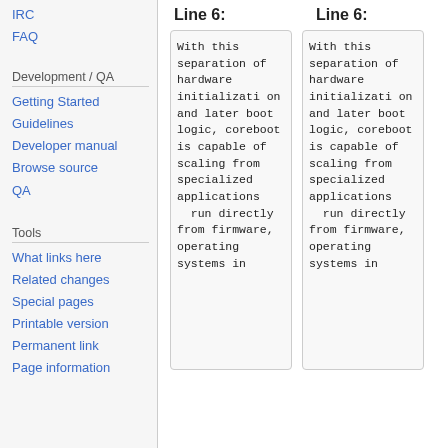IRC
FAQ
Development / QA
Getting Started
Guidelines
Developer manual
Browse source
QA
Tools
What links here
Related changes
Special pages
Printable version
Permanent link
Page information
Line 6:
Line 6:
With this separation of hardware initialization and later boot logic, coreboot is capable of scaling from specialized applications  run directly from firmware, operating systems in
With this separation of hardware initialization and later boot logic, coreboot is capable of scaling from specialized applications  run directly from firmware, operating systems in